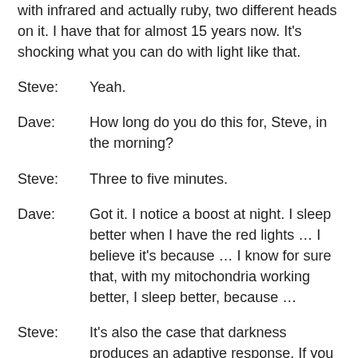with infrared and actually ruby, two different heads on it. I have that for almost 15 years now. It's shocking what you can do with light like that.
Steve:          Yeah.
Dave:           How long do you do this for, Steve, in the morning?
Steve:          Three to five minutes.
Dave:           Got it. I notice a boost at night. I sleep better when I have the red lights … I believe it's because … I know for sure that, with my mitochondria working better, I sleep better, because …
Steve:          It's also the case that darkness produces an adaptive response. If you are not having red light, your